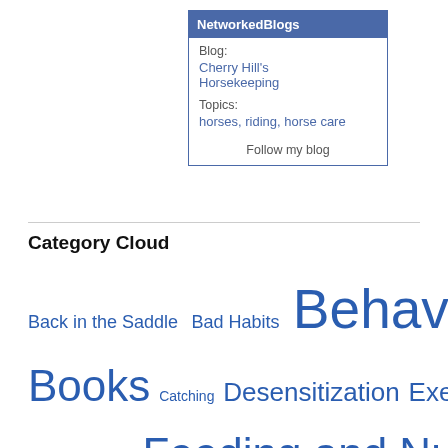[Figure (infographic): NetworkedBlogs widget box with header, blog name 'Cherry Hill's Horsekeeping', topics 'horses, riding, horse care', and 'Follow my blog' link]
Category Cloud
Back in the Saddle  Bad Habits  Behavior  Books  Catching  Desensitization  Exercise  Facilities  Feeding and Nutrition  Grooming  Ground Driving  Ground Training  Halter Training